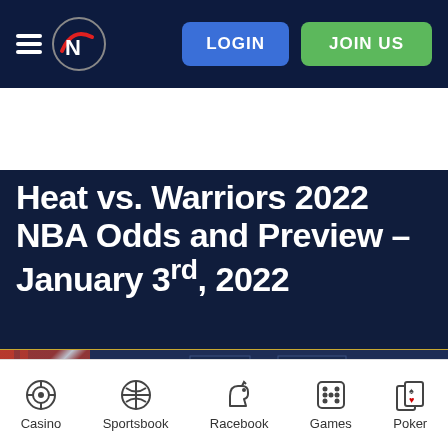[Figure (screenshot): Sports betting website navigation bar with hamburger menu, N logo, LOGIN and JOIN US buttons]
Survive all the way to win a share of the 4 BTC GTD prize in our NFL Survivor Pools!
Heat vs. Warriors 2022 NBA Odds and Preview – January 3rd, 2022
[Figure (photo): Partial photo of Chase Center arena signage]
Casino | Sportsbook | Racebook | Games | Poker